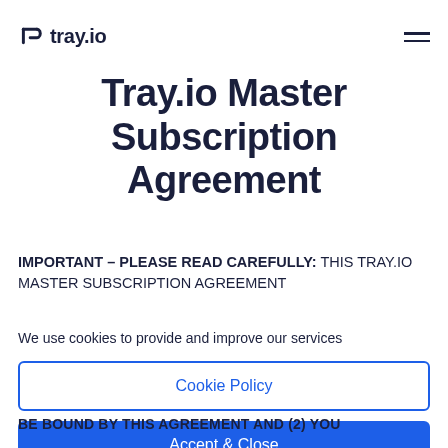tray.io
Tray.io Master Subscription Agreement
IMPORTANT – PLEASE READ CAREFULLY:  THIS TRAY.IO MASTER SUBSCRIPTION AGREEMENT
We use cookies to provide and improve our services
Cookie Policy
Accept & Close
BE BOUND BY THIS AGREEMENT AND (2) YOU